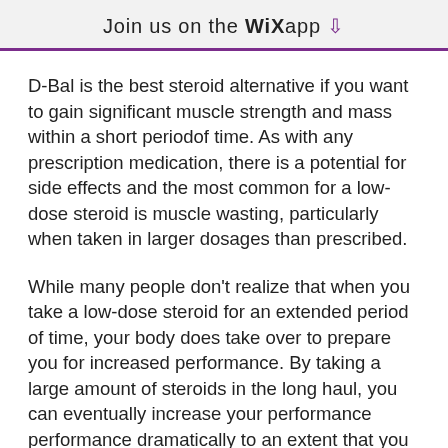Join us on the WiX app
D-Bal is the best steroid alternative if you want to gain significant muscle strength and mass within a short periodof time. As with any prescription medication, there is a potential for side effects and the most common for a low-dose steroid is muscle wasting, particularly when taken in larger dosages than prescribed.
While many people don't realize that when you take a low-dose steroid for an extended period of time, your body does take over to prepare you for increased performance. By taking a large amount of steroids in the long haul, you can eventually increase your performance performance dramatically to an extent that you wouldn't be able to achieve without the steroid. To do that you need to be